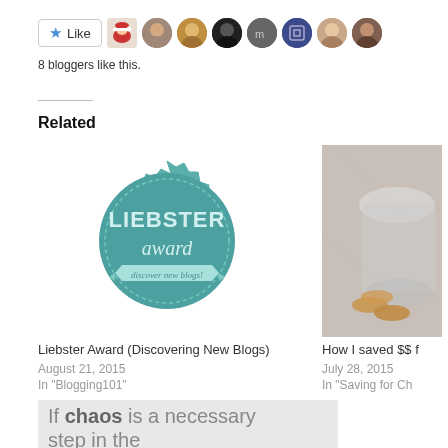[Figure (other): Like button with star icon and 8 blogger avatar thumbnails]
8 bloggers like this.
Related
[Figure (illustration): Liebster Award badge — teal circular seal with spiky border reading LIEBSTER award, discover new blogs!]
Liebster Award (Discovering New Blogs)
August 21, 2015
In "Blogging101"
[Figure (photo): Photo of coins spilling from a glass jar on a marble surface]
How I saved $$ f
July 28, 2015
In "Saving for Ch
[Figure (other): Light grey image with text: If chaos is a necessary step in the organization of one...]